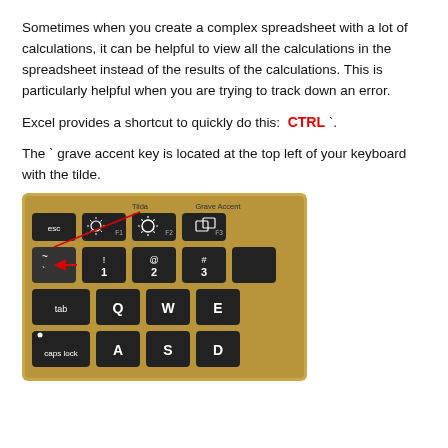Sometimes when you create a complex spreadsheet with a lot of calculations, it can be helpful to view all the calculations in the spreadsheet instead of the results of the calculations. This is particularly helpful when you are trying to track down an error.
Excel provides a shortcut to quickly do this: CTRL `.
The ` grave accent key is located at the top left of your keyboard with the tilde.
[Figure (photo): Photo of a keyboard showing the top-left area with keys: esc, F1, F2, F3, tilde/grave accent key (highlighted with red arrow), 1, 2, 3, tab, Q, W, E, caps lock, A, S, D. Labels 'Tilda' and 'Grave Accent' shown at top.]